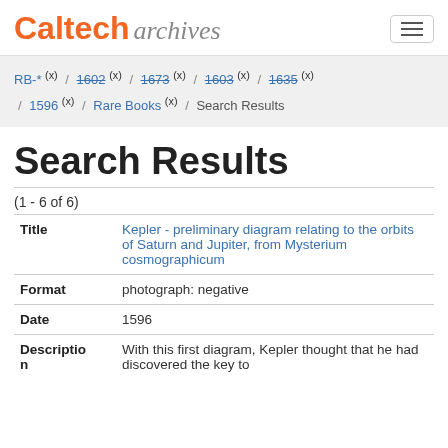Caltech Archives
RB-* (x) / 1602 (x) / 1673 (x) / 1603 (x) / 1635 (x) / 1596 (x) / Rare Books (x) / Search Results
Search Results
(1 - 6 of 6)
| Field | Value |
| --- | --- |
| Title | Kepler - preliminary diagram relating to the orbits of Saturn and Jupiter, from Mysterium cosmographicum |
| Format | photograph: negative |
| Date | 1596 |
| Description | With this first diagram, Kepler thought that he had discovered the key to |